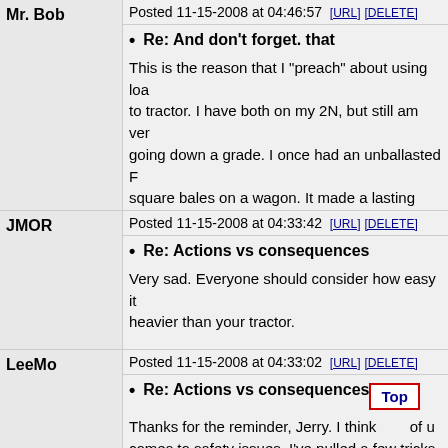Mr. Bob
Posted 11-15-2008 at 04:46:57 [URL] [DELETE]
Re: And don't forget. that
This is the reason that I "preach" about using loa to tractor. I have both on my 2N, but still am ver going down a grade. I once had an unballasted F square bales on a wagon. It made a lasting impre
Mr. Bob
JMOR
Posted 11-15-2008 at 04:33:42 [URL] [DELETE]
Re: Actions vs consequences
Very sad. Everyone should consider how easy it heavier than your tractor.
LeeMo
Posted 11-15-2008 at 04:33:02 [URL] [DELETE]
Re: Actions vs consequences
Thanks for the reminder, Jerry. I think of u comes to safety issues. I've pulled a few tricks t